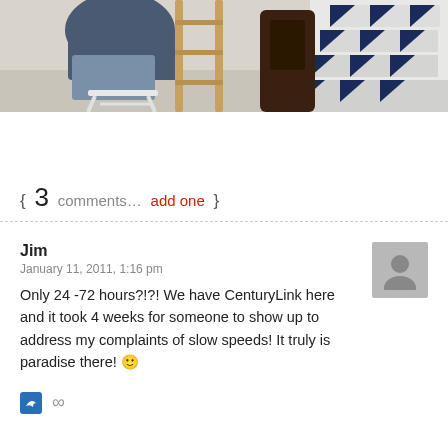[Figure (photo): Person sitting on a white stool near a wooden ladder, with blue and white patterned stairs visible on the right side of the image.]
{ 3 comments... add one }
Jim
January 11, 2011, 1:16 pm

Only 24 -72 hours?!?! We have CenturyLink here and it took 4 weeks for someone to show up to address my complaints of slow speeds! It truly is paradise there! 🙂